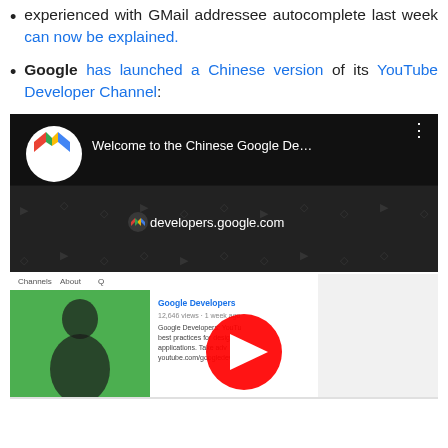experienced with GMail addressee autocomplete last week can now be explained.
Google has launched a Chinese version of its YouTube Developer Channel:
[Figure (screenshot): YouTube video thumbnail showing 'Welcome to the Chinese Google De...' with Google Developers icon, dark background with developers.google.com URL, and overlaid screenshot of the YouTube channel page with a presenter and red play button]